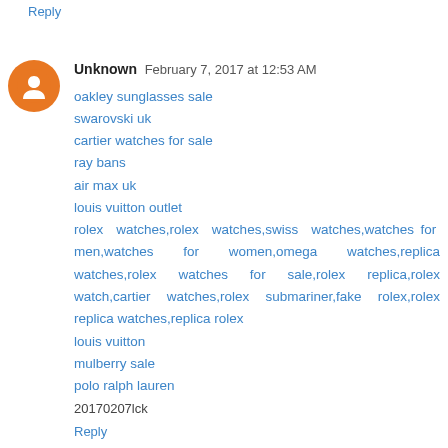Reply
Unknown  February 7, 2017 at 12:53 AM
oakley sunglasses sale
swarovski uk
cartier watches for sale
ray bans
air max uk
louis vuitton outlet
rolex watches,rolex watches,swiss watches,watches for men,watches for women,omega watches,replica watches,rolex watches for sale,rolex replica,rolex watch,cartier watches,rolex submariner,fake rolex,rolex replica watches,replica rolex
louis vuitton
mulberry sale
polo ralph lauren
20170207lck
Reply